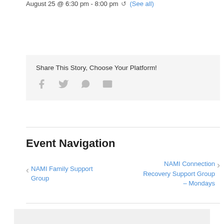August 25 @ 6:30 pm - 8:00 pm (See all)
Share This Story, Choose Your Platform!
[Figure (infographic): Social share icons: Facebook, Twitter, WhatsApp, Email]
Event Navigation
< NAMI Family Support Group   NAMI Connection Recovery Support Group – Mondays >